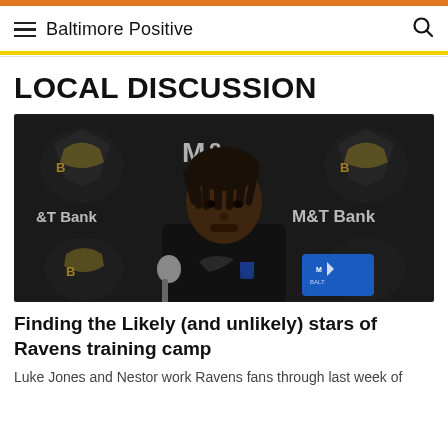Baltimore Positive
LOCAL DISCUSSION
[Figure (photo): A Baltimore Ravens player seated at a press conference podium in front of a black M&T Bank branded backdrop, with Ravens logos visible. A microphone and blue branded placard are in the foreground.]
Finding the Likely (and unlikely) stars of Ravens training camp
Luke Jones and Nestor work Ravens fans through last week of